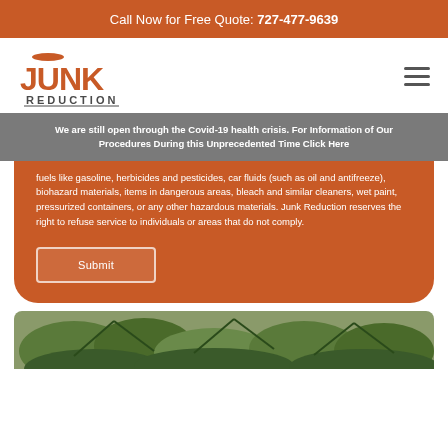Call Now for Free Quote: 727-477-9639
[Figure (logo): Junk Reduction logo with orange text and illustration]
We are still open through the Covid-19 health crisis. For Information of Our Procedures During this Unprecedented Time Click Here
fuels like gasoline, herbicides and pesticides, car fluids (such as oil and antifreeze), biohazard materials, items in dangerous areas, bleach and similar cleaners, wet paint, pressurized containers, or any other hazardous materials. Junk Reduction reserves the right to refuse service to individuals or areas that do not comply.
Submit
[Figure (photo): Green tropical plants at the bottom of the page]